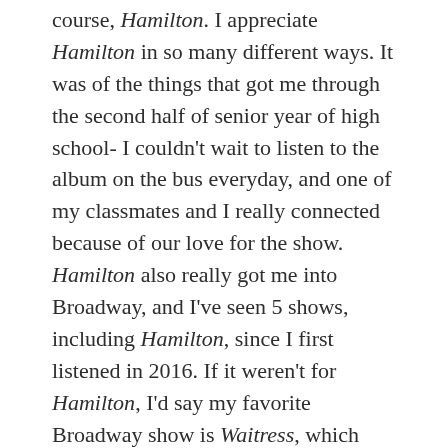course, Hamilton. I appreciate Hamilton in so many different ways. It was of the things that got me through the second half of senior year of high school- I couldn't wait to listen to the album on the bus everyday, and one of my classmates and I really connected because of our love for the show. Hamilton also really got me into Broadway, and I've seen 5 shows, including Hamilton, since I first listened in 2016. If it weren't for Hamilton, I'd say my favorite Broadway show is Waitress, which I've been listening to almost everyday since seeing the show in November.
Sorry for the rambliness, but I'm getting really into this question (don't even get me started on The Greatest Showman). I sense a